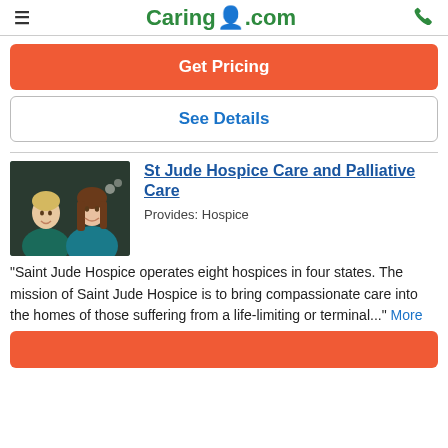Caring.com
Get Pricing
See Details
St Jude Hospice Care and Palliative Care
Provides: Hospice
[Figure (photo): Two women smiling, one older with short blonde hair and one younger with long brown hair, both wearing teal/blue tops]
"Saint Jude Hospice operates eight hospices in four states. The mission of Saint Jude Hospice is to bring compassionate care into the homes of those suffering from a life-limiting or terminal..." More